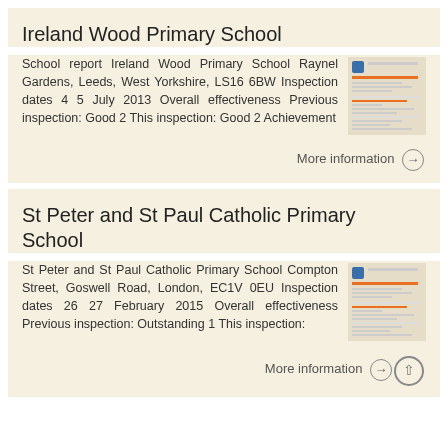Ireland Wood Primary School
School report Ireland Wood Primary School Raynel Gardens, Leeds, West Yorkshire, LS16 6BW Inspection dates 4 5 July 2013 Overall effectiveness Previous inspection: Good 2 This inspection: Good 2 Achievement
More information →
St Peter and St Paul Catholic Primary School
St Peter and St Paul Catholic Primary School Compton Street, Goswell Road, London, EC1V 0EU Inspection dates 26 27 February 2015 Overall effectiveness Previous inspection: Outstanding 1 This inspection:
More information →